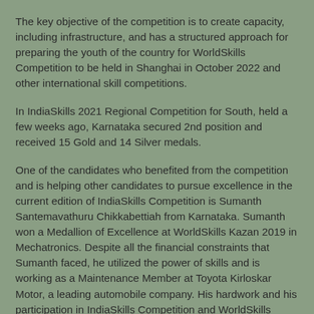The key objective of the competition is to create capacity, including infrastructure, and has a structured approach for preparing the youth of the country for WorldSkills Competition to be held in Shanghai in October 2022 and other international skill competitions.
In IndiaSkills 2021 Regional Competition for South, held a few weeks ago, Karnataka secured 2nd position and received 15 Gold and 14 Silver medals.
One of the candidates who benefited from the competition and is helping other candidates to pursue excellence in the current edition of IndiaSkills Competition is Sumanth Santemavathuru Chikkabettiah from Karnataka. Sumanth won a Medallion of Excellence at WorldSkills Kazan 2019 in Mechatronics. Despite all the financial constraints that Sumanth faced, he utilized the power of skills and is working as a Maintenance Member at Toyota Kirloskar Motor, a leading automobile company. His hardwork and his participation in IndiaSkills Competition and WorldSkills Kazan opened a line of opportunities for him which he could have only dreamt of earlier.